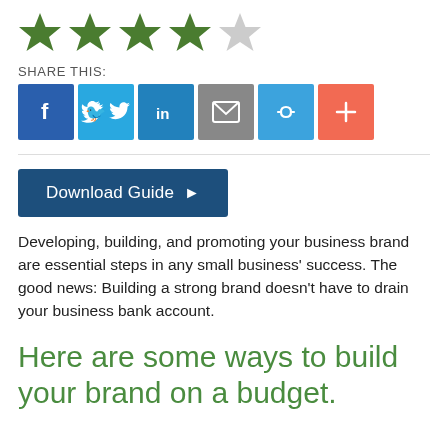[Figure (other): Five star rating with 4 filled green stars and 1 empty gray star]
SHARE THIS:
[Figure (infographic): Social sharing buttons: Facebook (blue), Twitter (light blue), LinkedIn (blue), Email (gray), Link (blue), Plus/More (orange-red)]
[Figure (other): Download Guide button with right-pointing arrow, dark navy background]
Developing, building, and promoting your business brand are essential steps in any small business' success. The good news: Building a strong brand doesn't have to drain your business bank account.
Here are some ways to build your brand on a budget.